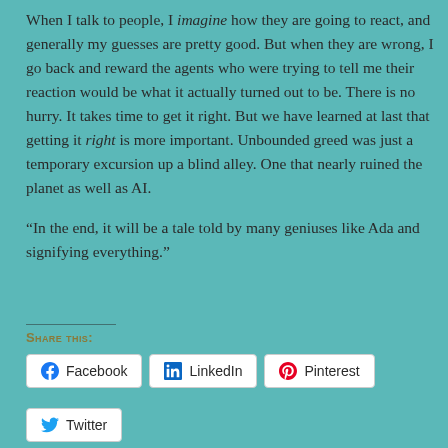When I talk to people, I imagine how they are going to react, and generally my guesses are pretty good. But when they are wrong, I go back and reward the agents who were trying to tell me their reaction would be what it actually turned out to be. There is no hurry. It takes time to get it right. But we have learned at last that getting it right is more important. Unbounded greed was just a temporary excursion up a blind alley. One that nearly ruined the planet as well as AI.
“In the end, it will be a tale told by many geniuses like Ada and signifying everything.”
Share this:
Facebook  LinkedIn  Pinterest  Twitter